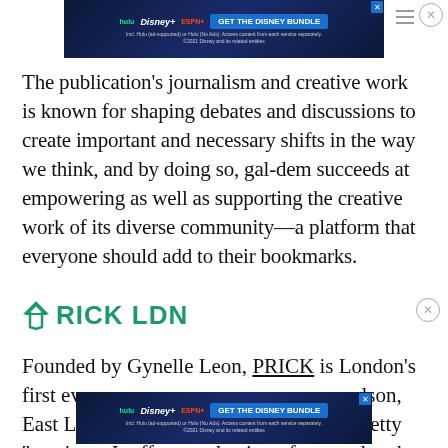[Figure (screenshot): Disney Bundle advertisement banner at top of page showing Hulu, Disney+, ESPN+ logos and GET THE DISNEY BUNDLE call to action button]
The publication's journalism and creative work is known for shaping debates and discussions to create important and necessary shifts in the way we think, and by doing so, gal-dem succeeds at empowering as well as supporting the creative work of its diverse community—a platform that everyone should add to their bookmarks.
PRICK LDN
Founded by Gynelle Leon, PRICK is London's first ever ca... alson, East Lo... etty 'busy' too. It offers a selection of unusual and
[Figure (screenshot): Disney Bundle advertisement banner overlaying bottom portion of page showing Hulu, Disney+, ESPN+ logos and GET THE DISNEY BUNDLE call to action button]